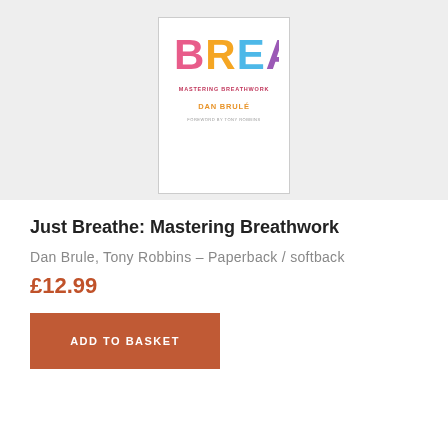[Figure (photo): Book cover of 'Just Breathe: Mastering Breathwork' by Dan Brulé, with foreword by Tony Robbins. The cover shows colorful letters spelling BREATHE at the top, with subtitle 'Mastering Breathwork' in pink, author name 'Dan Brulé' in orange, and 'Foreword by Tony Robbins' in grey at the bottom.]
Just Breathe: Mastering Breathwork
Dan Brule, Tony Robbins – Paperback / softback
£12.99
ADD TO BASKET